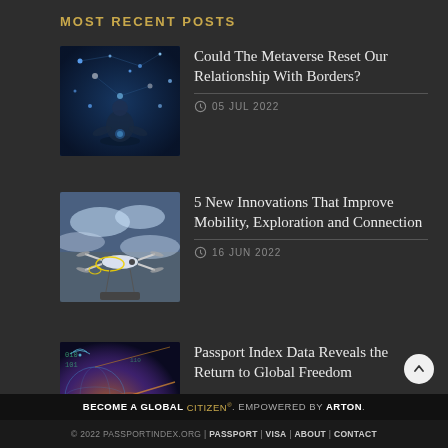MOST RECENT POSTS
[Figure (photo): Person meditating surrounded by glowing blue digital stars/dots network visualization]
Could The Metaverse Reset Our Relationship With Borders?
05 JUL 2022
[Figure (photo): Aerial view of futuristic drone/aircraft flying above clouds with yellow circle annotations]
5 New Innovations That Improve Mobility, Exploration and Connection
16 JUN 2022
[Figure (photo): Technology/data visualization with globe and orange light rays]
Passport Index Data Reveals the Return to Global Freedom
BECOME A GLOBAL CITIZEN®. EMPOWERED BY ARTON.
© 2022 PASSPORTINDEX.ORG | PASSPORT | VISA | ABOUT | CONTACT